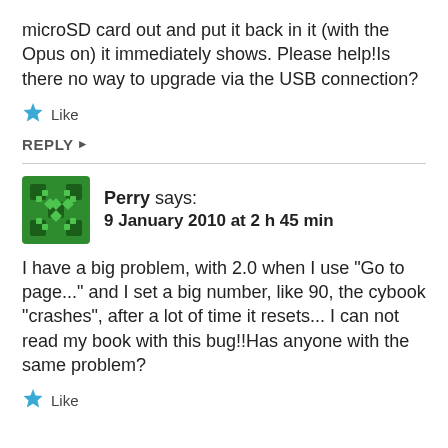microSD card out and put it back in it (with the Opus on) it immediately shows. Please help!Is there no way to upgrade via the USB connection?
[Figure (illustration): Blue star icon with 'Like' text]
REPLY ▶
[Figure (illustration): Green decorative avatar icon for user Perry]
Perry says:
9 January 2010 at 2 h 45 min
I have a big problem, with 2.0 when I use "Go to page..." and I set a big number, like 90, the cybook "crashes", after a lot of time it resets... I can not read my book with this bug!!Has anyone with the same problem?
[Figure (illustration): Blue star icon with 'Like' text]